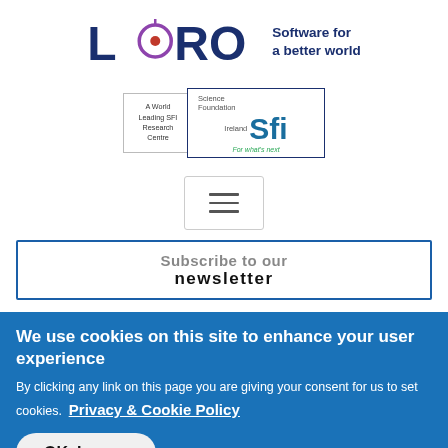[Figure (logo): Lero logo with text 'Software for a better world' to the right]
[Figure (logo): Two overlapping badges: 'A World Leading SFI Research Centre' and 'Science Foundation Ireland Sfi For what's next']
[Figure (other): Hamburger menu button with three horizontal lines]
Subscribe to our newsletter
We use cookies on this site to enhance your user experience
By clicking any link on this page you are giving your consent for us to set cookies.  Privacy & Cookie Policy
OK, I agree